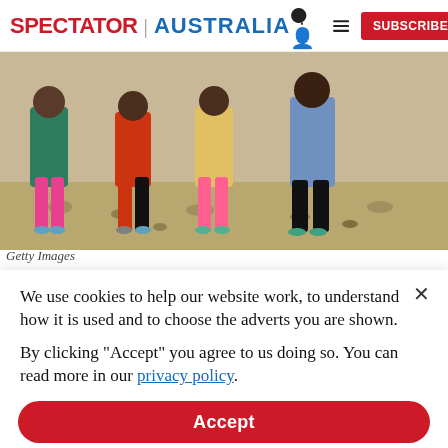SPECTATOR | AUSTRALIA  [person icon] [menu icon]  SUBSCRIBE
[Figure (photo): Group of children standing on rocky ground outdoors, wearing colorful clothing including pink pants and bright tops.]
Getty Images
We use cookies to help our website work, to understand how it is used and to choose the adverts you are shown.
By clicking "Accept" you agree to us doing so. You can read more in our privacy policy.
Accept